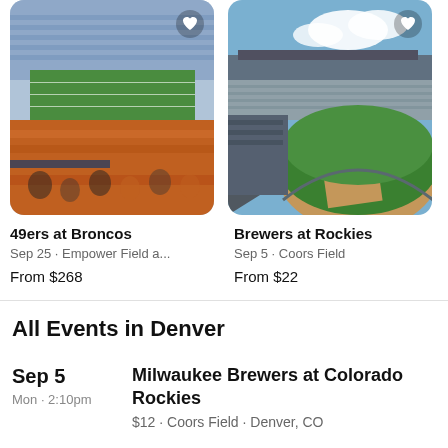[Figure (photo): Stadium photo - football field with orange-clad fans in stands, 49ers at Broncos event]
49ers at Broncos
Sep 25 · Empower Field a...
From $268
[Figure (photo): Baseball stadium aerial view - Coors Field, Brewers at Rockies event]
Brewers at Rockies
Sep 5 · Coors Field
From $22
[Figure (photo): Partial stadium photo cropped on right edge - UCK event]
UCK
Sep
From
All Events in Denver
Sep 5
Mon · 2:10pm
Milwaukee Brewers at Colorado Rockies
$12 · Coors Field · Denver, CO